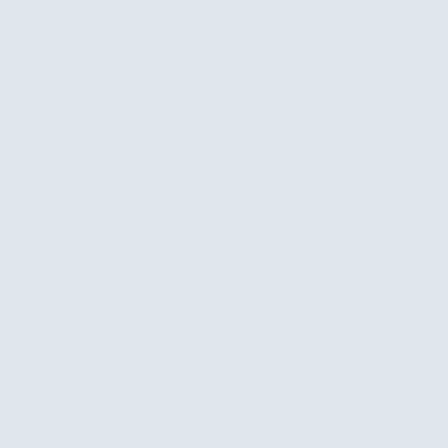evenly, making it accessible and different barriers. Beyond access to knowledge exchange, non-native English listeners, privileged power hierarchies. Researchers, not to mention unreliable broadband, obstruct participation.
Fourth, we need interactive, skeuomorphic facsimiles of spaces of productive interaction, but for every collaborator. No platform or another, there will present an annoyance, a learning curve, bandwidth
The DARIAH experiment, humanities paradigm of building, rather than our research's interesting results, bearing could learn and contribute